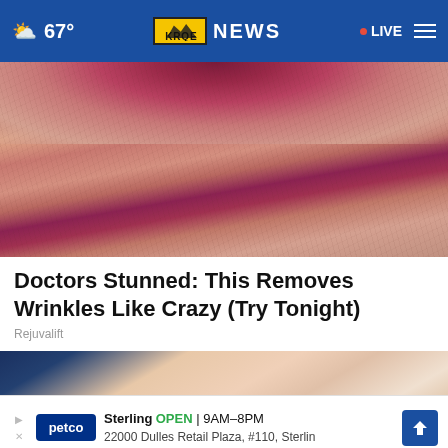67° KRQE NEWS LIVE
[Figure (photo): Close-up of wrinkled, aged skin around the mouth/lips area, showing skin texture and lip color]
Doctors Stunned: This Removes Wrinkles Like Crazy (Try Tonight)
Rejuvalift
[Figure (photo): Close-up of a person's face/ear area with dark hair, partially obscured by an ad overlay and a close button]
Sterling OPEN | 9AM–8PM 22000 Dulles Retail Plaza, #110, Sterling (Petco advertisement)